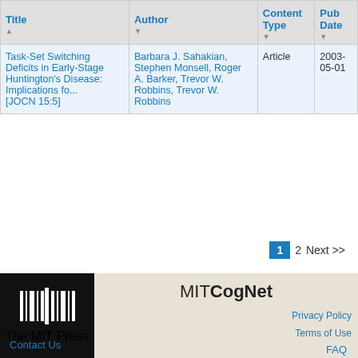| Title | Author | Content Type | Pub Date |
| --- | --- | --- | --- |
| Task-Set Switching Deficits in Early-Stage Huntington's Disease: Implications fo... [JOCN 15:5] | Barbara J. Sahakian, Stephen Monsell, Roger A. Barker, Trevor W. Robbins, Trevor W. Robbins | Article | 2003-05-01 |
1  2  Next >>
[Figure (logo): The MIT Press logo — vertical barcode-like bars with text 'The MIT Press' below, white on black background]
MITCogNet
Privacy Policy
Terms of Use
Contact Us
FAQ